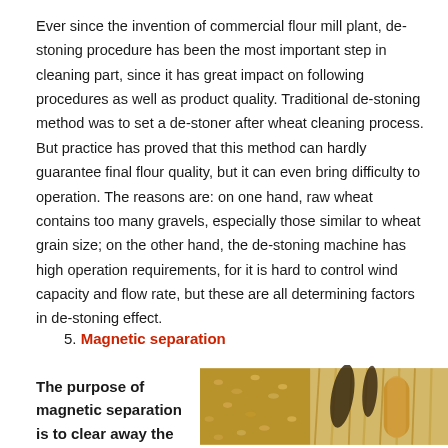Ever since the invention of commercial flour mill plant, de-stoning procedure has been the most important step in cleaning part, since it has great impact on following procedures as well as product quality. Traditional de-stoning method was to set a de-stoner after wheat cleaning process. But practice has proved that this method can hardly guarantee final flour quality, but it can even bring difficulty to operation. The reasons are: on one hand, raw wheat contains too many gravels, especially those similar to wheat grain size; on the other hand, the de-stoning machine has high operation requirements, for it is hard to control wind capacity and flow rate, but these are all determining factors in de-stoning effect.
5. Magnetic separation
The purpose of magnetic separation is to clear away the
[Figure (photo): Photo of wheat grains and wheat stalks with wooden rolling pins or processing equipment]